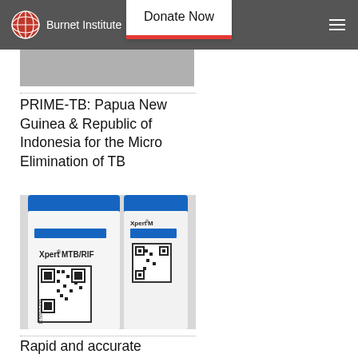Burnet Institute — Donate Now
[Figure (photo): Partial cropped image at top of page (grey/light colored, partially visible)]
PRIME-TB: Papua New Guinea & Republic of Indonesia for the Micro Elimination of TB
[Figure (photo): Close-up photograph of Xpert MTB/RIF diagnostic test cartridges with blue lids and QR code labels]
Rapid and accurate diagnosis of TB: New trial in PNG
[Figure (photo): Group photo of people standing in front of green foliage (partially visible at bottom)]